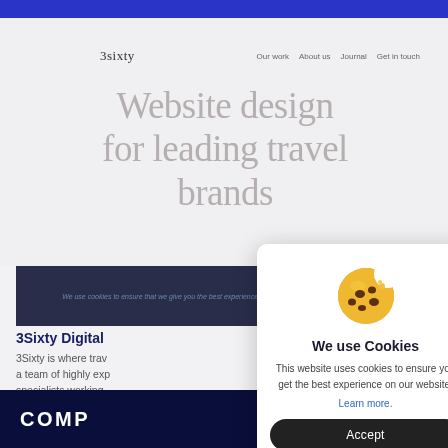[Figure (screenshot): Blue top navigation bar of a browser or website header]
[Figure (screenshot): Website screenshot of 3sixty digital agency showing navigation bar with logo '3sixty' and links 'Our work', 'About us', 'Journal', 'Get in touch', and hero headline 'Website design for leading travel brands' in large serif gray text on light background. Below is an article preview section showing a dark header image with cookie notice banner, article title '3Sixty Digital', and body text '3Sixty is where trav... a team of highly exp... specialists working... travel and leisure br... transfor...' and a dark bottom bar with text 'COMP']
[Figure (screenshot): Cookie consent modal dialog with cookie emoji illustration, bold title 'We use Cookies', body text 'This website uses cookies to ensure you get the best experience on our website.' with blue 'Learn more.' link and dark rounded 'Accept' button]